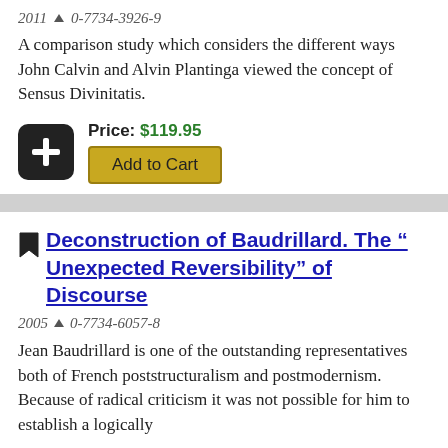2011 ▲ 0-7734-3926-9
A comparison study which considers the different ways John Calvin and Alvin Plantinga viewed the concept of Sensus Divinitatis.
Price: $119.95
Add to Cart
Deconstruction of Baudrillard. The " Unexpected Reversibility" of Discourse
2005 ▲ 0-7734-6057-8
Jean Baudrillard is one of the outstanding representatives both of French poststructuralism and postmodernism. Because of radical criticism it was not possible for him to establish a logically